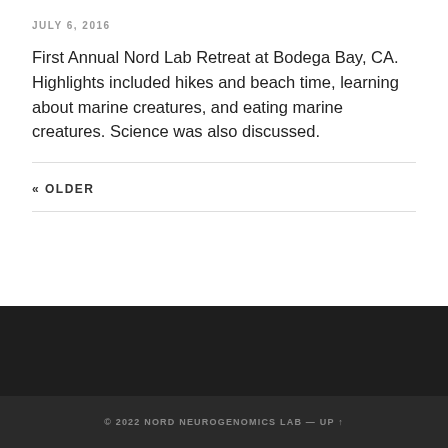JULY 6, 2016
First Annual Nord Lab Retreat at Bodega Bay, CA. Highlights included hikes and beach time, learning about marine creatures, and eating marine creatures. Science was also discussed.
« OLDER
© 2022 NORD NEUROGENOMICS LAB — UP ↑